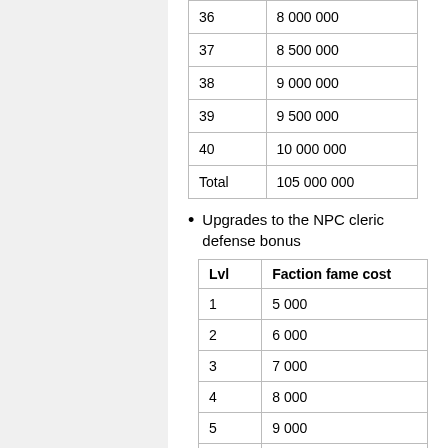|  |  |
| --- | --- |
| 36 | 8 000 000 |
| 37 | 8 500 000 |
| 38 | 9 000 000 |
| 39 | 9 500 000 |
| 40 | 10 000 000 |
| Total | 105 000 000 |
Upgrades to the NPC cleric defense bonus
| Lvl | Faction fame cost |
| --- | --- |
| 1 | 5 000 |
| 2 | 6 000 |
| 3 | 7 000 |
| 4 | 8 000 |
| 5 | 9 000 |
| 6 | 10 000 |
| Total | 45000 |